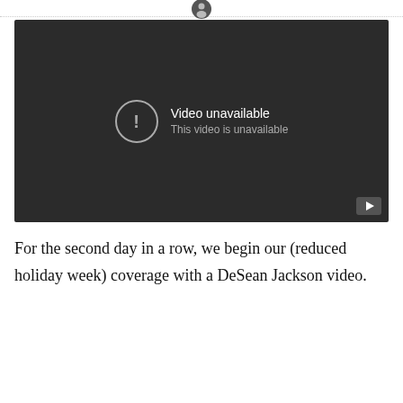[Figure (screenshot): Embedded video player showing 'Video unavailable' error message. Dark background with centered error icon (exclamation mark in circle) and text 'Video unavailable / This video is unavailable'. Play button visible in bottom-right corner.]
For the second day in a row, we begin our (reduced holiday week) coverage with a DeSean Jackson video.